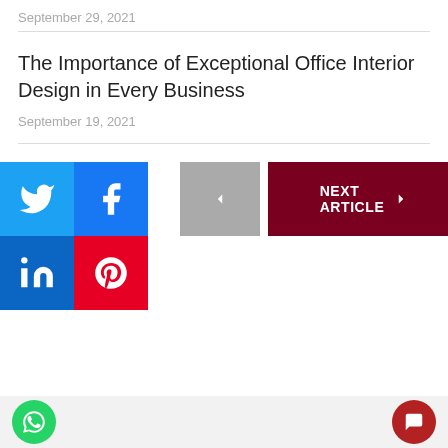September 29, 2021
The Importance of Exceptional Office Interior Design in Every Business
September 19, 2021
[Figure (infographic): Social media share buttons (Twitter, Facebook, LinkedIn, Pinterest), a previous article navigation button (grey left arrow), and a next article navigation button (dark red, NEXT ARTICLE with right arrow)]
WhatsApp contact button and chat button